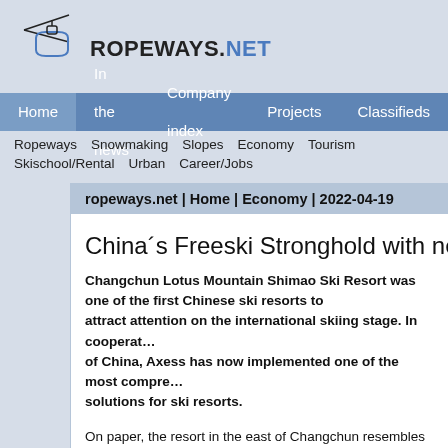[Figure (logo): Ropeways.net logo with cable car gondola icon above text ROPEWAYS.NET]
Home | In the news | Company index | Projects | Classifieds
Ropeways | Snowmaking | Slopes | Economy | Tourism | Skischool/Rental | Urban | Career/Jobs
ropeways.net | Home | Economy | 2022-04-19
China´s Freeski Stronghold with new Axess setup
Changchun Lotus Mountain Shimao Ski Resort was one of the first Chinese ski resorts to attract attention on the international skiing stage. In cooperation with the Ski Association of China, Axess has now implemented one of the most comprehensive ticketing and access solutions for ski resorts.
On paper, the resort in the east of Changchun resembles the many ski resorts in China that have risen to international stature in recent years. The geographic location, the proximity to a megacity and the operators' demands on the resort infrastructure. A closer look, however, reveals the extraordinary character of Lotus Mountain Shimao Ski Resort. From the very beginning, great things were happening here on kickers, rails and in halfpipes. After opening in 2004, the